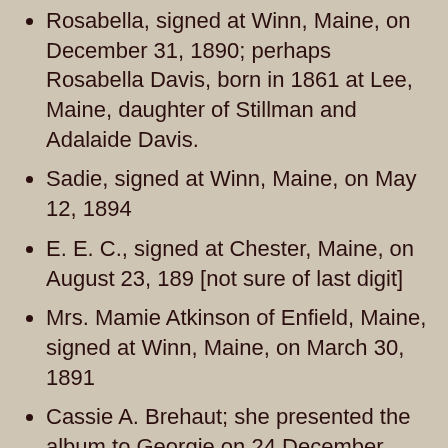Rosabella, signed at Winn, Maine, on December 31, 1890; perhaps Rosabella Davis, born in 1861 at Lee, Maine, daughter of Stillman and Adalaide Davis.
Sadie, signed at Winn, Maine, on May 12, 1894
E. E. C., signed at Chester, Maine, on August 23, 189 [not sure of last digit]
Mrs. Mamie Atkinson of Enfield, Maine, signed at Winn, Maine, on March 30, 1891
Cassie A. Brehaut; she presented the album to Georgie on 24 December 1890
Mrs. Hannah E. Brehaut of North Lincoln, Maine, signed on January 1, 1891; Elizabeth Hannah (Brooks) Brehaut, widow of William J. Brehaut
Wellington E. Brown, signed at Winn, Maine, on December 13, 1891